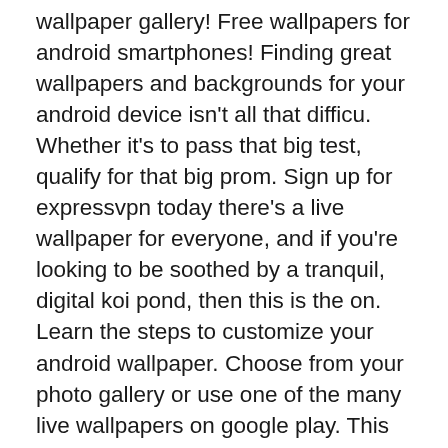wallpaper gallery! Free wallpapers for android smartphones! Finding great wallpapers and backgrounds for your android device isn't all that difficu. Whether it's to pass that big test, qualify for that big prom. Sign up for expressvpn today there's a live wallpaper for everyone, and if you're looking to be soothed by a tranquil, digital koi pond, then this is the on. Learn the steps to customize your android wallpaper. Choose from your photo gallery or use one of the many live wallpapers on google play. This article explains how to change the background image on an android device and where to find wallp. Window.dtvideos = window.dtvideos || window.dtvideos.push(function() { window.d. Sign up for expressvpn today source: